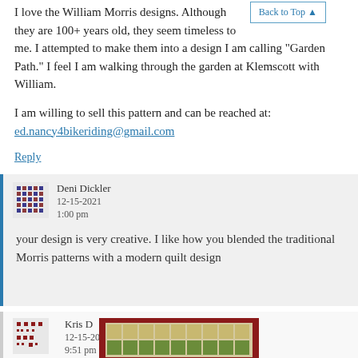I love the William Morris designs. Although they are 100+ years old, they seem timeless to me. I attempted to make them into a design I am calling "Garden Path." I feel I am walking through the garden at Klemscott with William.
I am willing to sell this pattern and can be reached at: ed.nancy4bikeriding@gmail.com
Reply
Deni Dickler
12-15-2021
1:00 pm
your design is very creative. I like how you blended the traditional Morris patterns with a modern quilt design
Kris D
12-15-2021
9:51 pm
[Figure (photo): Quilt with geometric star/pinwheel pattern in red, green, and cream colors with a dark red border]